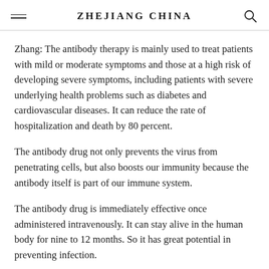ZHEJIANG CHINA
Zhang: The antibody therapy is mainly used to treat patients with mild or moderate symptoms and those at a high risk of developing severe symptoms, including patients with severe underlying health problems such as diabetes and cardiovascular diseases. It can reduce the rate of hospitalization and death by 80 percent.
The antibody drug not only prevents the virus from penetrating cells, but also boosts our immunity because the antibody itself is part of our immune system.
The antibody drug is immediately effective once administered intravenously. It can stay alive in the human body for nine to 12 months. So it has great potential in preventing infection.